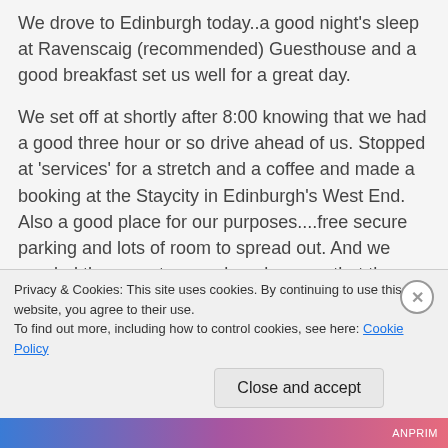We drove to Edinburgh today..a good night's sleep at Ravenscaig (recommended) Guesthouse and a good breakfast set us well for a great day.
We set off at shortly after 8:00 knowing that we had a good three hour or so drive ahead of us. Stopped at 'services' for a stretch and a coffee and made a booking at the Staycity in Edinburgh's West End. Also a good place for our purposes....free secure parking and lots of room to spread out. And we needed the room to repack and ensure that the weight in our four suitcases (2 checked, 2 carry on) was appropriately apportioned ( just as well we did....Lufthansa seem to be very strict about all weights...the guy ahead of us in the queue had to £110 excess weight on one of his
Privacy & Cookies: This site uses cookies. By continuing to use this website, you agree to their use.
To find out more, including how to control cookies, see here: Cookie Policy
Close and accept